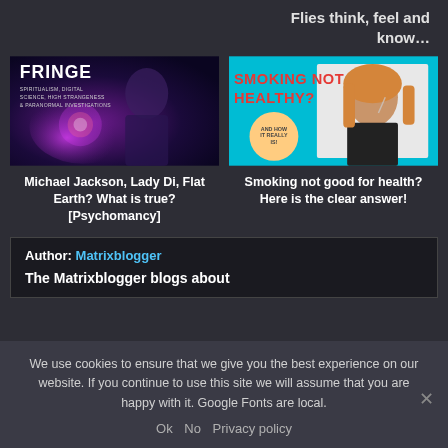Flies think, feel and know…
[Figure (illustration): FRINGE blog post thumbnail - dark sci-fi style with person and energy ball, text: FRINGE, SPIRITUALISM, DIGITAL SCIENCE, HIGH STRANGENESS & PARANORMAL INVESTIGATIONS]
Michael Jackson, Lady Di, Flat Earth? What is true? [Psychomancy]
[Figure (illustration): Smoking Not Healthy? blog post thumbnail - teal background with woman smoking, red bold text: SMOKING NOT HEALTHY? and circle: AND HOW IT REALLY IS!]
Smoking not good for health? Here is the clear answer!
Author: Matrixblogger
The Matrixblogger blogs about
We use cookies to ensure that we give you the best experience on our website. If you continue to use this site we will assume that you are happy with it. Google Fonts are local.
Ok  No  Privacy policy